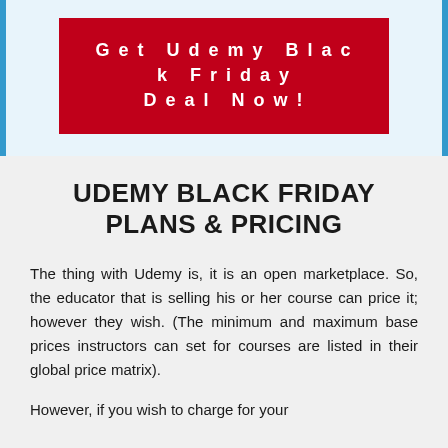[Figure (other): Red call-to-action button with text 'Get Udemy Black Friday Deal Now!' on a light blue background with blue left and right borders]
UDEMY BLACK FRIDAY PLANS & PRICING
The thing with Udemy is, it is an open marketplace. So, the educator that is selling his or her course can price it; however they wish. (The minimum and maximum base prices instructors can set for courses are listed in their global price matrix).
However, if you wish to charge for your